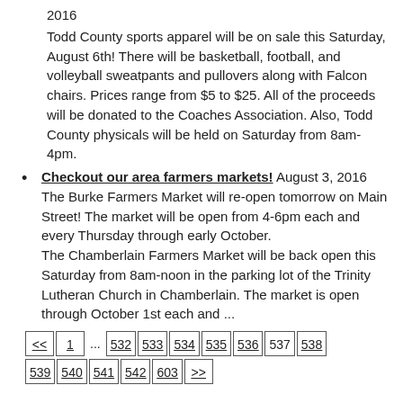2016
Todd County sports apparel will be on sale this Saturday, August 6th! There will be basketball, football, and volleyball sweatpants and pullovers along with Falcon chairs. Prices range from $5 to $25. All of the proceeds will be donated to the Coaches Association. Also, Todd County physicals will be held on Saturday from 8am-4pm.
Checkout our area farmers markets! August 3, 2016 The Burke Farmers Market will re-open tomorrow on Main Street! The market will be open from 4-6pm each and every Thursday through early October. The Chamberlain Farmers Market will be back open this Saturday from 8am-noon in the parking lot of the Trinity Lutheran Church in Chamberlain. The market is open through October 1st each and ...
<< 1 ... 532 533 534 535 536 537 538 539 540 541 542 603 >>